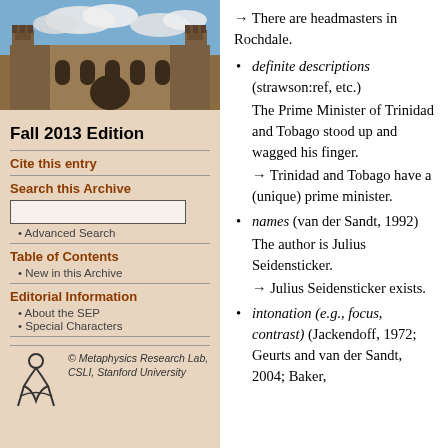[Figure (photo): Photo of a historic stone university building with Gothic architecture under a blue sky with clouds]
Fall 2013 Edition
Cite this entry
Search this Archive
Advanced Search
Table of Contents
New in this Archive
Editorial Information
About the SEP
Special Characters
[Figure (logo): Metaphysics Research Lab logo with stylized figure]
© Metaphysics Research Lab, CSLI, Stanford University
→ There are headmasters in Rochdale.
definite descriptions (strawson:ref, etc.) The Prime Minister of Trinidad and Tobago stood up and wagged his finger.
→ Trinidad and Tobago have a (unique) prime minister.
names (van der Sandt, 1992) The author is Julius Seidensticker.
→ Julius Seidensticker exists.
intonation (e.g., focus, contrast) (Jackendoff, 1972; Geurts and van der Sandt, 2004; Baker,